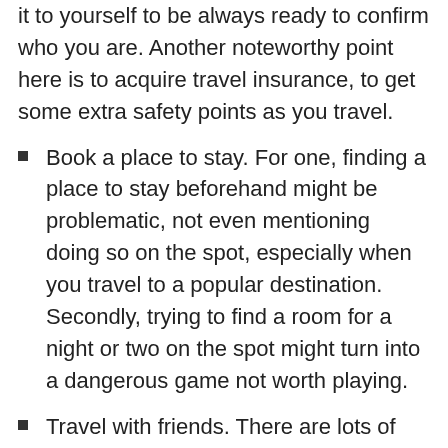it to yourself to be always ready to confirm who you are. Another noteworthy point here is to acquire travel insurance, to get some extra safety points as you travel.
Book a place to stay. For one, finding a place to stay beforehand might be problematic, not even mentioning doing so on the spot, especially when you travel to a popular destination. Secondly, trying to find a room for a night or two on the spot might turn into a dangerous game not worth playing.
Travel with friends. There are lots of reasons to do that. Yet, it's always fun to have company. In addition, you'll less likely get into trouble with strangers when your friends are around.
Avoid unplanned rides. Hitchhiking might